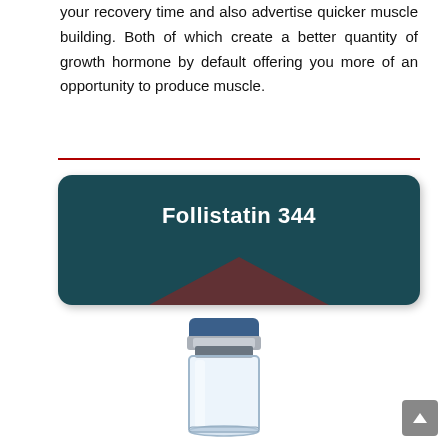your recovery time and also advertise quicker muscle building. Both of which create a better quantity of growth hormone by default offering you more of an opportunity to produce muscle.
[Figure (other): Teal rounded rectangle banner with dark red chevron/arrow shape at bottom, containing bold white text 'Follistatin 344']
[Figure (illustration): Medical vial/injection bottle with blue cap, silver crimp seal, and clear glass body]